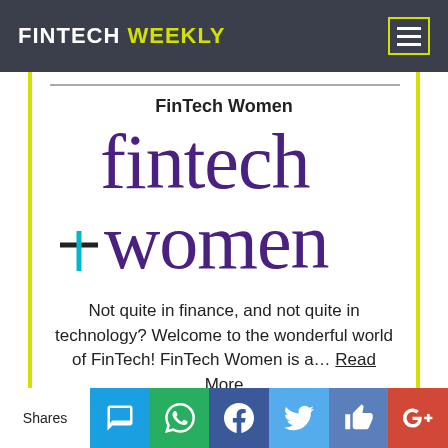FINTECH WEEKLY
FinTech Women
[Figure (logo): FinTech Women logo — large purple serif text 'fintech women' with a cyan plus/crosshair symbol on the left]
Not quite in finance, and not quite in technology? Welcome to the wonderful world of FinTech! FinTech Women is a... Read More